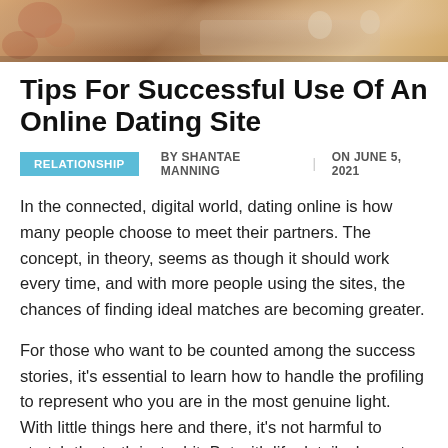[Figure (photo): Photo of people at a restaurant/cafe table, partially visible at the top of the page]
Tips For Successful Use Of An Online Dating Site
RELATIONSHIP   BY SHANTAE MANNING  |  ON JUNE 5, 2021
In the connected, digital world, dating online is how many people choose to meet their partners. The concept, in theory, seems as though it should work every time, and with more people using the sites, the chances of finding ideal matches are becoming greater.
For those who want to be counted among the success stories, it's essential to learn how to handle the profiling to represent who you are in the most genuine light. With little things here and there, it's not harmful to stretch the truth just a bit. But with life details, honesty is